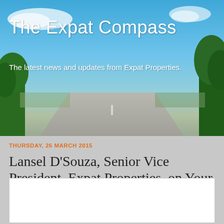[Figure (photo): Blog header banner with sky, clouds, trees, and road in the background for 'The Expat Compass' newsletter]
The Expat Compass
The latest news and updates from Expat Properties.
THURSDAY, 26 MARCH 2015
Lansel D'Souza, Senior Vice President, Expat Properties, on Your weekend getaway
[Figure (photo): White image/photo placeholder area]